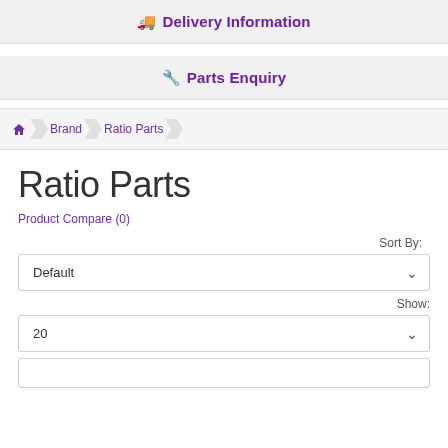🚚 Delivery Information
🔧 Parts Enquiry
Home > Brand > Ratio Parts
Ratio Parts
Product Compare (0)
Sort By:
Default
Show:
20